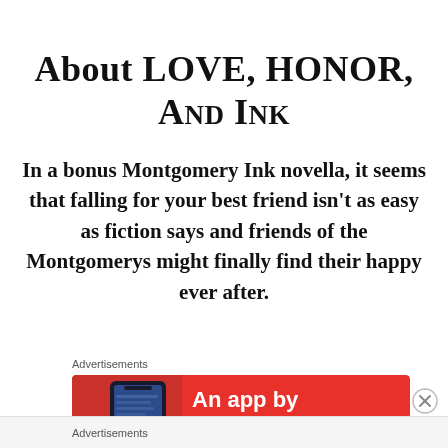About LOVE, HONOR, And INK
In a bonus Montgomery Ink novella, it seems that falling for your best friend isn't as easy as fiction says and friends of the Montgomerys might finally find their happy ever after.
[Figure (infographic): Advertisement banner with red background showing a phone and text 'An app by listeners. for']
Advertisements